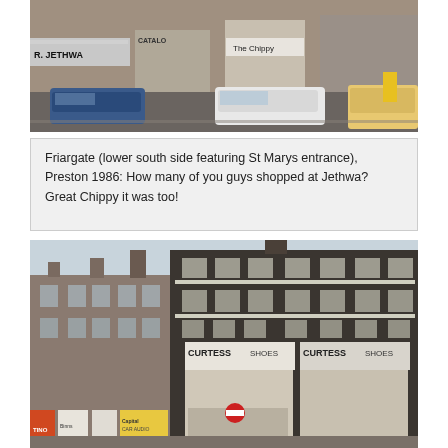[Figure (photo): Street scene of Friargate, Preston 1986, lower south side. Shows shops including R. Jethwa, Catalog shop, The Chippy. Cars on street including blue car on left and white car in centre. A man in orange clothing walks on pavement.]
Friargate (lower south side featuring St Marys entrance), Preston 1986: How many of you guys shopped at Jethwa? Great Chippy it was too!
[Figure (photo): Street scene showing corner building with Curtess Shoes shops (two frontages visible). Also shows other shops including Tino, Binns, and Capital Car Audio. Victorian brick buildings on a town centre street. A no-entry sign is visible.]